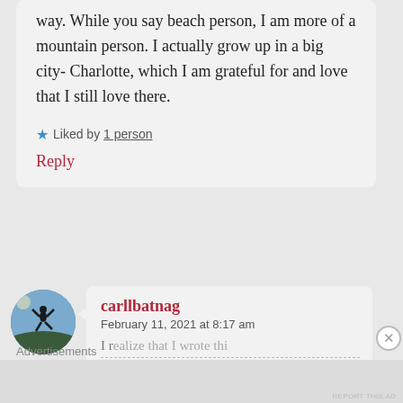way. While you say beach person, I am more of a mountain person. I actually grow up in a big city- Charlotte, which I am grateful for and love that I still love there.
Liked by 1 person
Reply
[Figure (photo): Circular avatar showing a silhouette of a person jumping on a hilltop against a blue sky background]
carllbatnag
February 11, 2021 at 8:17 am
I realize that I wrote this
Advertisements